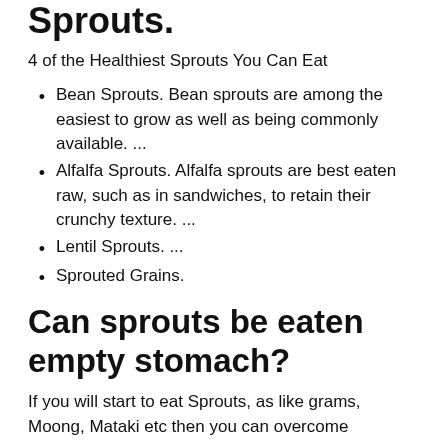Sprouts.
4 of the Healthiest Sprouts You Can Eat
Bean Sprouts. Bean sprouts are among the easiest to grow as well as being commonly available. ...
Alfalfa Sprouts. Alfalfa sprouts are best eaten raw, such as in sandwiches, to retain their crunchy texture. ...
Lentil Sprouts. ...
Sprouted Grains.
Can sprouts be eaten empty stomach?
If you will start to eat Sprouts, as like grams, Moong, Mataki etc then you can overcome